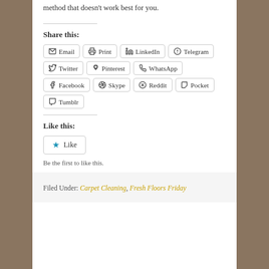method that doesn't work best for you.
Share this:
Email
Print
LinkedIn
Telegram
Twitter
Pinterest
WhatsApp
Facebook
Skype
Reddit
Pocket
Tumblr
Like this:
Like
Be the first to like this.
Filed Under: Carpet Cleaning, Fresh Floors Friday